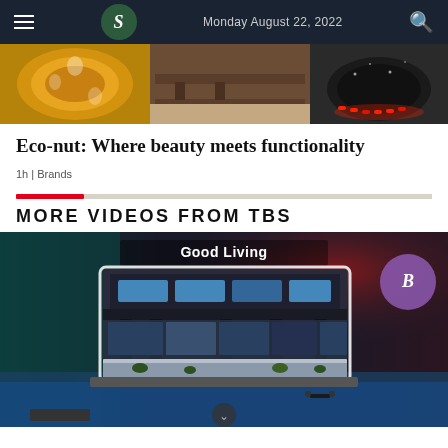S | Monday August 22, 2022
[Figure (photo): Banner image showing decorative items: an orange patterned plate on left, wooden furniture/shelf in center, and a red-lit circular lamp on right]
Eco-nut: Where beauty meets functionality
1h | Brands
MORE VIDEOS FROM TBS
[Figure (screenshot): Video thumbnail showing 'Good Living' title overlay on a rendered image of a modern floating/elevated house with glass facades, plants, and water surroundings. A circular TBS logo appears in upper right.]